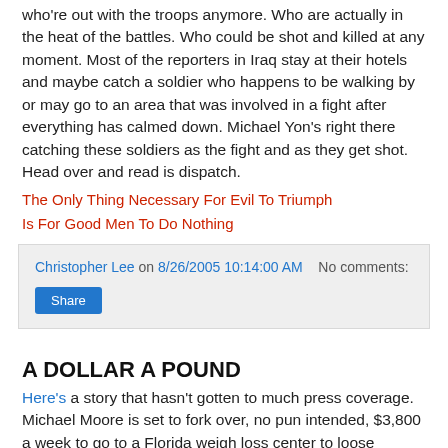who're out with the troops anymore. Who are actually in the heat of the battles. Who could be shot and killed at any moment. Most of the reporters in Iraq stay at their hotels and maybe catch a soldier who happens to be walking by or may go to an area that was involved in a fight after everything has calmed down. Michael Yon's right there catching these soldiers as the fight and as they get shot. Head over and read is dispatch.
The Only Thing Necessary For Evil To Triumph
Is For Good Men To Do Nothing
Christopher Lee on 8/26/2005 10:14:00 AM   No comments:
Share
A DOLLAR A POUND
Here's a story that hasn't gotten to much press coverage. Michael Moore is set to fork over, no pun intended, $3,800 a week to go to a Florida weigh loss center to loose weight. Just like the Hollywood elite, $3,800, when all he has to do is